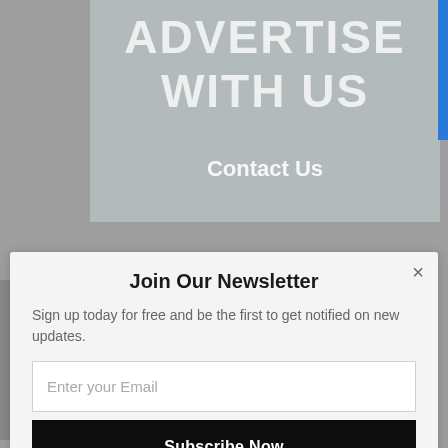[Figure (screenshot): Advertisement banner with 'ADVERTISE WITH US' text and 'Contact Us' link, showing a person in background]
Join Our Newsletter
Sign up today for free and be the first to get notified on new updates.
Enter your Email
Subscribe Now
[Figure (logo): POWERED BY SUMO badge with crown icon]
Bridges Beyond Boxing: Celtic Clash Belfast against Boston